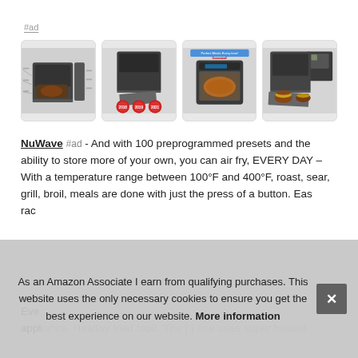#ad
[Figure (photo): Four product images of NuWave air fryer oven shown in a row — front diagram view, open door with award badges, front glass door view, and side open-tray view]
NuWave #ad - And with 100 preprogrammed presets and the ability to store more of your own, you can air fry, EVERY DAY – With a temperature range between 100°F and 400°F, roast, sear, grill, broil, meals are done with just the press of a button. Easy [partially obscured] rack [partially obscured]
Every [partially obscured] appliance. Healthy fried food. The [partially obscured] uses super heated [partially obscured]
As an Amazon Associate I earn from qualifying purchases. This website uses the only necessary cookies to ensure you get the best experience on our website. More information